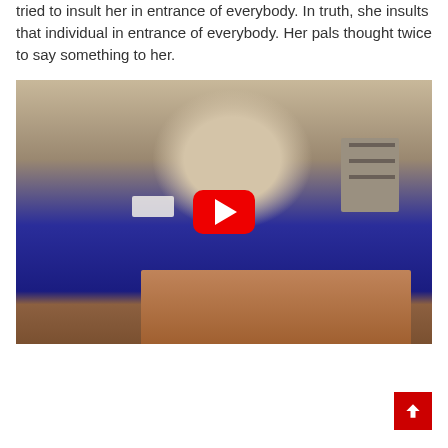tried to insult her in entrance of everybody. In truth, she insults that individual in entrance of everybody. Her pals thought twice to say something to her.
[Figure (photo): An elderly woman in a blue blazer with a name badge speaking at a podium, with a YouTube play button overlay in the center of the image.]